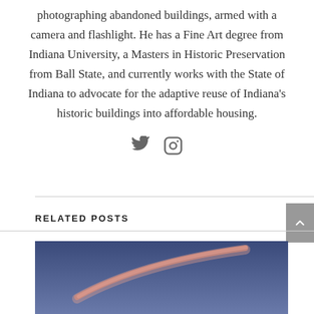photographing abandoned buildings, armed with a camera and flashlight. He has a Fine Art degree from Indiana University, a Masters in Historic Preservation from Ball State, and currently works with the State of Indiana to advocate for the adaptive reuse of Indiana's historic buildings into affordable housing.
[Figure (other): Social media icons: Twitter bird icon and Instagram camera icon, displayed in grey]
RELATED POSTS
[Figure (photo): A photo showing a reddish-pink streak of light or contrail against a dark blue/purple sky background]